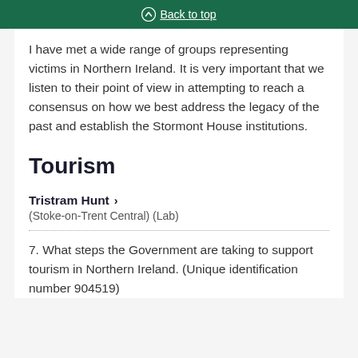Back to top
I have met a wide range of groups representing victims in Northern Ireland. It is very important that we listen to their point of view in attempting to reach a consensus on how we best address the legacy of the past and establish the Stormont House institutions.
Tourism
Tristram Hunt >
(Stoke-on-Trent Central) (Lab)
7. What steps the Government are taking to support tourism in Northern Ireland. (Unique identification number 904519)